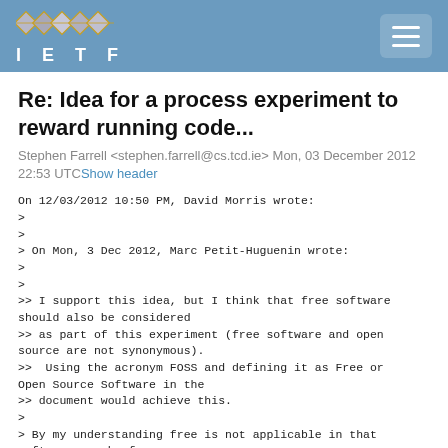IETF
Re: Idea for a process experiment to reward running code...
Stephen Farrell <stephen.farrell@cs.tcd.ie> Mon, 03 December 2012 22:53 UTC Show header
On 12/03/2012 10:50 PM, David Morris wrote:
>
>
> On Mon, 3 Dec 2012, Marc Petit-Huguenin wrote:
>
>
>> I support this idea, but I think that free software should also be considered
>> as part of this experiment (free software and open source are not synonymous).
>>  Using the acronym FOSS and defining it as Free or Open Source Software in the
>> document would achieve this.
>
> By my understanding free is not applicable in that software can be free
> without the source being available from. There's a second...